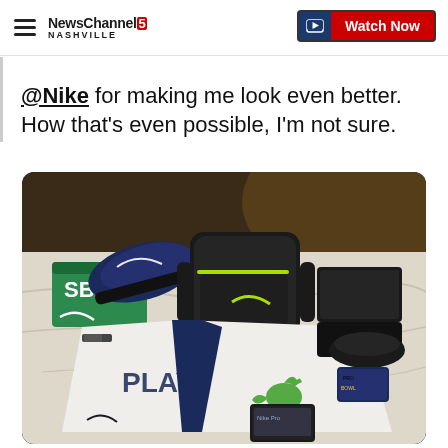NewsChannel 5 Nashville — Watch Now
@Nike for making me look even better. How that's even possible, I'm not sure.
[Figure (photo): Nike gear laid out on a hotel bed including shoes, a backpack, a jersey reading PLAY, Nike apparel, a toy dinosaur, and other items.]